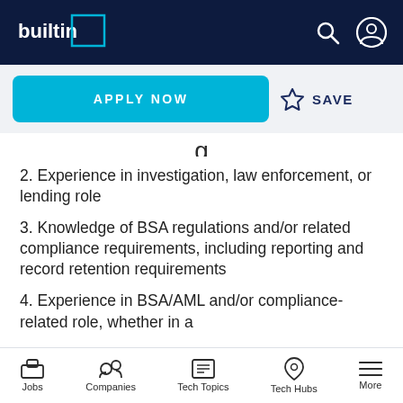builtin (navigation bar with search and user icons)
APPLY NOW  ☆ SAVE
2. Experience in investigation, law enforcement, or lending role
3. Knowledge of BSA regulations and/or related compliance requirements, including reporting and record retention requirements
4. Experience in BSA/AML and/or compliance-related role, whether in a
Jobs  Companies  Tech Topics  Tech Hubs  More